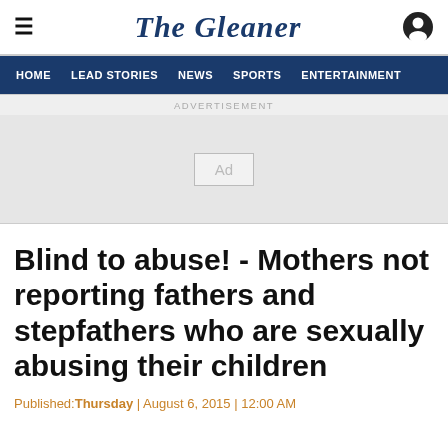The Gleaner
HOME  LEAD STORIES  NEWS  SPORTS  ENTERTAINMENT
ADVERTISEMENT
[Figure (other): Advertisement placeholder box with 'Ad' label]
Blind to abuse! - Mothers not reporting fathers and stepfathers who are sexually abusing their children
Published:Thursday | August 6, 2015 | 12:00 AM